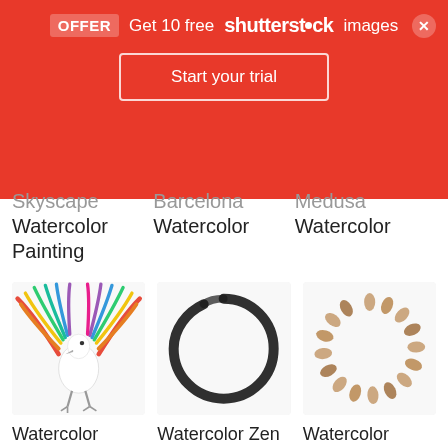[Figure (screenshot): Red promotional banner: OFFER Get 10 free shutterstock images, with a Start your trial button and a close X button]
Skyscape Watercolor Painting
Barcelona Watercolor
Medusa Watercolor
[Figure (illustration): Colorful watercolor bird with rainbow-colored wings spreading outward]
Watercolor Bird
[Figure (illustration): Watercolor zen circle — a hand-brushed black enso circle on white background]
Watercolor Zen Circle
[Figure (illustration): Watercolor wreath made of brown/tan petal shapes arranged in a circular pattern]
Watercolor Wreath